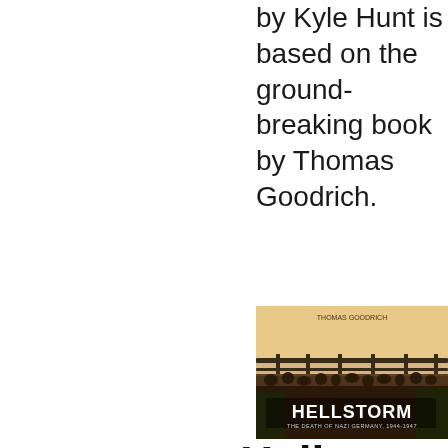by Kyle Hunt is based on the ground-breaking book by Thomas Goodrich.
[Figure (photo): Book cover of Hellstorm: The Death of Nazi Germany, 1944-1947, showing sepia-toned image of soldiers or people with a railing, with bold 'HELLSTORM' title text on the cover]
Hellsto